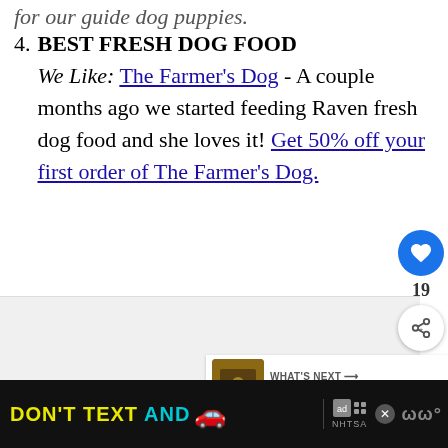for our guide dog puppies.
4. BEST FRESH DOG FOOD
We Like: The Farmer's Dog - A couple months ago we started feeding Raven fresh dog food and she loves it! Get 50% off your first order of The Farmer's Dog.
[Figure (screenshot): Heart (like) button (blue circle), like count 19, share button (white circle with share icon)]
[Figure (screenshot): Gray advertisement area with a 'WHAT'S NEXT' card showing a dog training thumbnail and text 'Puppy In Training TV ...']
[Figure (screenshot): Bottom advertisement bar with dark background: DON'T TEXT AND [car emoji] with NHTSA logo, close button, and brand watermark]